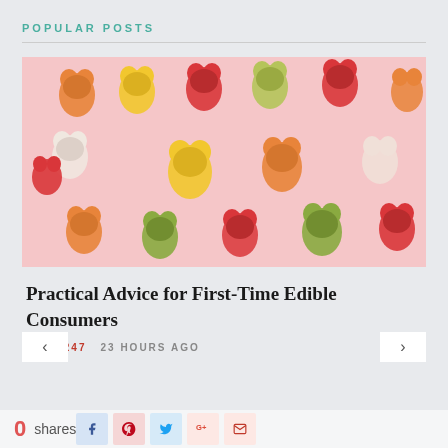POPULAR POSTS
[Figure (photo): Colorful gummy bear candies arranged on a pink background, showing various colors including red, orange, yellow, green, and white gummy bears]
Practical Advice for First-Time Edible Consumers
tips6247   23 HOURS AGO
0 shares